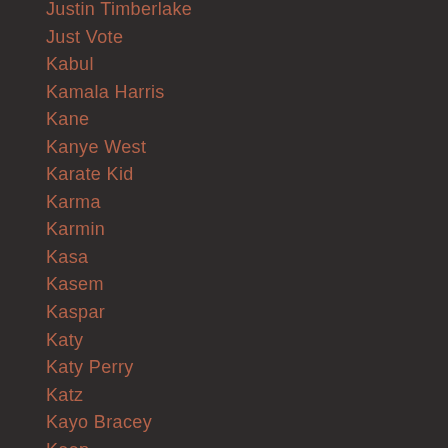Justin Timberlake
Just Vote
Kabul
Kamala Harris
Kane
Kanye West
Karate Kid
Karma
Karmin
Kasa
Kasem
Kaspar
Katy
Katy Perry
Katz
Kayo Bracey
Keep
Keep Yo Junk Out My Face
Kellyanne Conway
Ken
Kenny Kinds